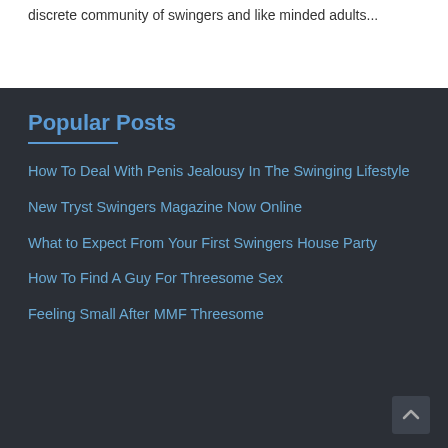discrete community of swingers and like minded adults...
Popular Posts
How To Deal With Penis Jealousy In The Swinging Lifestyle
New Tryst Swingers Magazine Now Online
What to Expect From Your First Swingers House Party
How To Find A Guy For Threesome Sex
Feeling Small After MMF Threesome